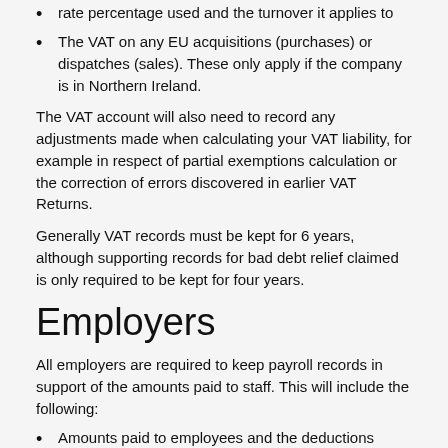rate percentage used and the turnover it applies to
The VAT on any EU acquisitions (purchases) or dispatches (sales). These only apply if the company is in Northern Ireland.
The VAT account will also need to record any adjustments made when calculating your VAT liability, for example in respect of partial exemptions calculation or the correction of errors discovered in earlier VAT Returns.
Generally VAT records must be kept for 6 years, although supporting records for bad debt relief claimed is only required to be kept for four years.
Employers
All employers are required to keep payroll records in support of the amounts paid to staff. This will include the following:
Amounts paid to employees and the deductions made. As well as PAYE and national insurance this